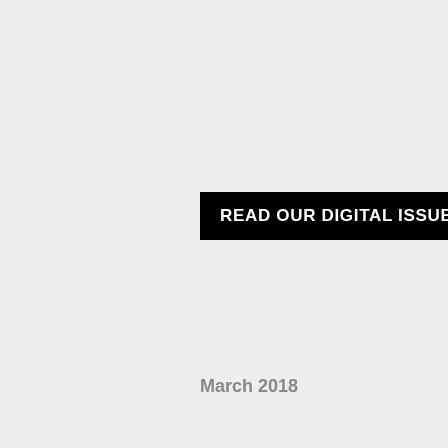READ OUR DIGITAL ISSUE HERE
March 2018